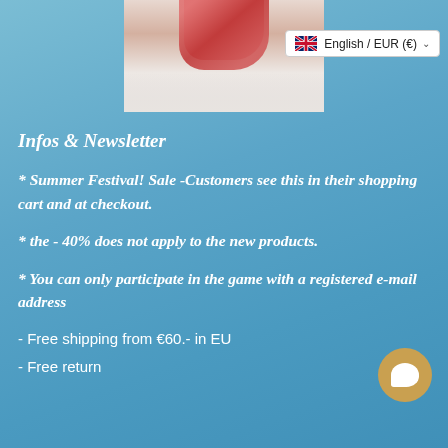[Figure (photo): Top portion of a person wearing a red/pink scarf, photo partially visible at top center of page]
English / EUR (€)
Infos & Newsletter
* Summer Festival! Sale -Customers see this in their shopping cart and at checkout.
* the - 40% does not apply to the new products.
* You can only participate in the game with a registered e-mail address
- Free shipping from €60.- in EU
- Free return